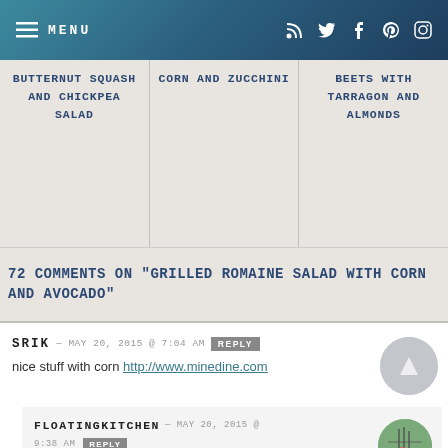MENU | RSS Twitter Facebook Pinterest Instagram
BUTTERNUT SQUASH AND CHICKPEA SALAD
CORN AND ZUCCHINI
BEETS WITH TARRAGON AND ALMONDS
72 COMMENTS ON "GRILLED ROMAINE SALAD WITH CORN AND AVOCADO"
SRIK — MAY 20, 2015 @ 7:04 AM REPLY
nice stuff with corn http://www.minedine.com
FLOATINGKITCHEN — MAY 20, 2015 @ 9:38 AM REPLY